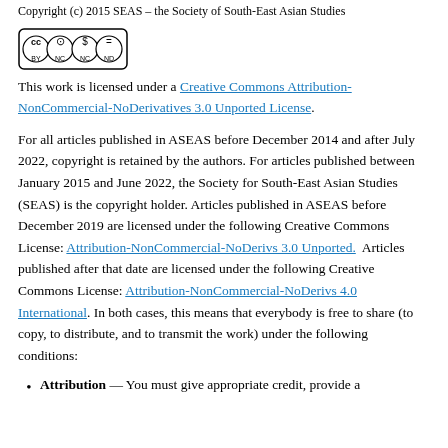Copyright (c) 2015 SEAS – the Society of South-East Asian Studies
[Figure (logo): Creative Commons BY-NC-ND license logo]
This work is licensed under a Creative Commons Attribution-NonCommercial-NoDerivatives 3.0 Unported License.
For all articles published in ASEAS before December 2014 and after July 2022, copyright is retained by the authors. For articles published between January 2015 and June 2022, the Society for South-East Asian Studies (SEAS) is the copyright holder. Articles published in ASEAS before December 2019 are licensed under the following Creative Commons License: Attribution-NonCommercial-NoDerivs 3.0 Unported. Articles published after that date are licensed under the following Creative Commons License: Attribution-NonCommercial-NoDerivs 4.0 International. In both cases, this means that everybody is free to share (to copy, to distribute, and to transmit the work) under the following conditions:
Attribution — You must give appropriate credit, provide a